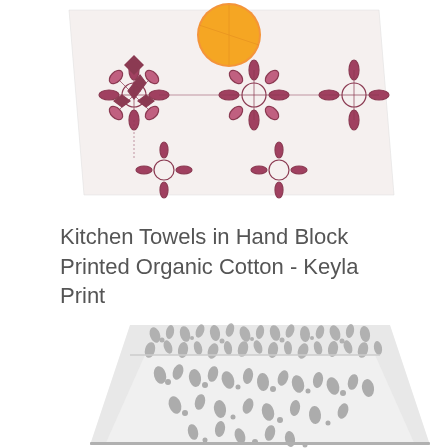[Figure (photo): Kitchen towel with hand block printed geometric floral pattern in dark red/maroon on white, with an orange fruit partially visible at top center. The towel is folded and displayed from above.]
Kitchen Towels in Hand Block Printed Organic Cotton - Keyla Print
$32.00
[Figure (photo): Kitchen towel with hand block printed grey floral/botanical pattern on white background. The towel is folded diagonally showing two layers.]